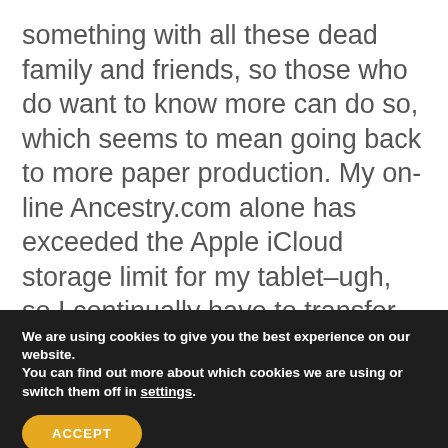something with all these dead family and friends, so those who do want to know more can do so, which seems to mean going back to more paper production. My on-line Ancestry.com alone has exceeded the Apple iCloud storage limit for my tablet–ugh, so I continually have to transfer personal photos to my PC. I am now getting photographs from family, to reproduce for them, since I have many
We are using cookies to give you the best experience on our website.
You can find out more about which cookies we are using or switch them off in settings.
ACCEPT